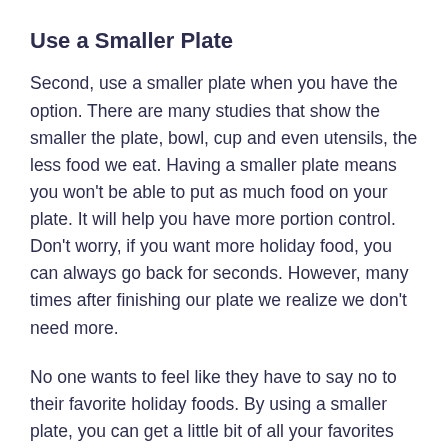Use a Smaller Plate
Second, use a smaller plate when you have the option. There are many studies that show the smaller the plate, bowl, cup and even utensils, the less food we eat. Having a smaller plate means you won't be able to put as much food on your plate. It will help you have more portion control. Don't worry, if you want more holiday food, you can always go back for seconds. However, many times after finishing our plate we realize we don't need more.
No one wants to feel like they have to say no to their favorite holiday foods. By using a smaller plate, you can get a little bit of all your favorites without